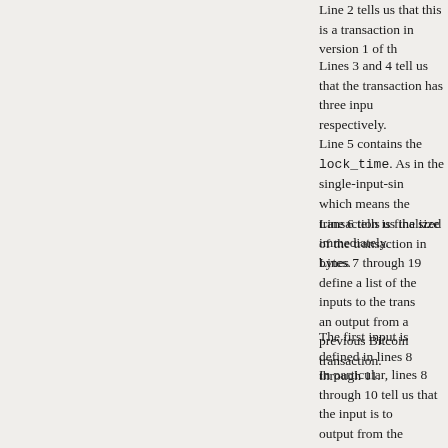Line 2 tells us that this is a transaction in version 1 of th…
Lines 3 and 4 tell us that the transaction has three inpu… respectively.
Line 5 contains the lock_time. As in the single-input-si… which means the transaction is finalized immediately.
Line 6 tells us the size of the transaction in bytes.
Lines 7 through 19 define a list of the inputs to the trans… an output from a previous Bitcoin transaction.
The first input is defined in lines 8 through 11.
In particular, lines 8 through 10 tell us that the input is t… output from the transaction with hash 3beabc…. Line 11 followed by a space, and then the public key of the pers…
Lines 12 through 15 define the second input, with a sim… 11. And lines 16 through 19 define the third input.
Lines 20 through 24 define a list containing the two out…
The first output is defined in lines 21 and 22. Line 21 te… 0.01068000 bitcoins. As before, line 22 is an expression…